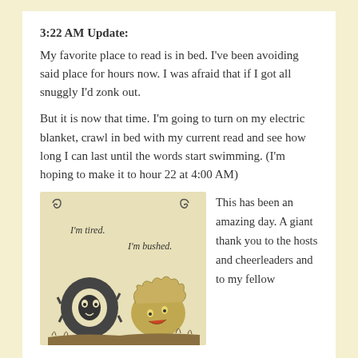3:22 AM Update:
My favorite place to read is in bed. I've been avoiding said place for hours now. I was afraid that if I got all snuggly I'd zonk out.
But it is now that time. I'm going to turn on my electric blanket, crawl in bed with my current read and see how long I can last until the words start swimming. (I'm hoping to make it to hour 22 at 4:00 AM)
[Figure (illustration): Cartoon illustration on a cream/sepia background showing two characters: a black tire with a face saying 'I'm tired.' and a round bushy creature saying 'I'm bushed.' with spiral decorations in top corners.]
This has been an amazing day. A giant thank you to the hosts and cheerleaders and to my fellow